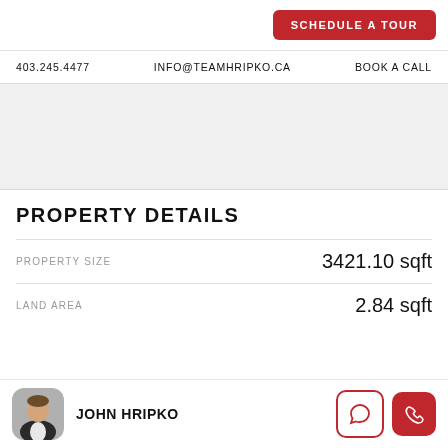SCHEDULE A TOUR
403.245.4477   INFO@TEAMHRIPKO.CA   BOOK A CALL
[Figure (photo): Property photo area (gray placeholder)]
PROPERTY DETAILS
PROPERTY SIZE   3421.10 sqft
LAND AREA   2.84 sqft
JOHN HRIPKO